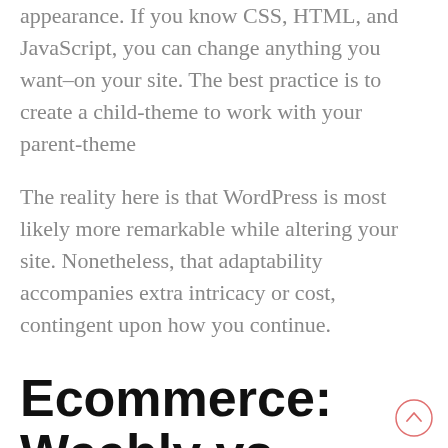appearance. If you know CSS, HTML, and JavaScript, you can change anything you want–on your site. The best practice is to create a child-theme to work with your parent-theme
The reality here is that WordPress is most likely more remarkable while altering your site. Nonetheless, that adaptability accompanies extra intricacy or cost, contingent upon how you continue.
Ecommerce: Weebly vs